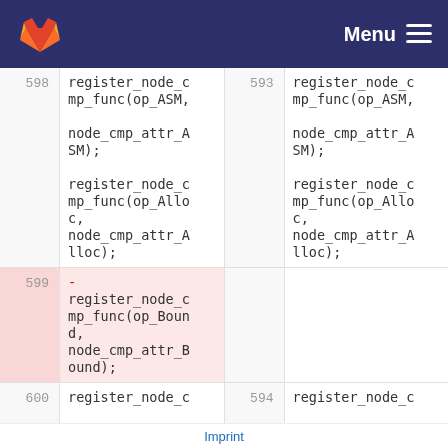GitLab — Menu
Left side line 598: register_node_cmp_func(op_ASM, node_cmp_attr_ASM); register_node_cmp_func(op_Alloc, node_cmp_attr_Alloc);
Right side line 593: register_node_cmp_func(op_ASM, node_cmp_attr_ASM); register_node_cmp_func(op_Alloc, node_cmp_attr_Alloc);
Left side line 599 (deleted): - register_node_cmp_func(op_Bound, node_cmp_attr_Bound);
Right side line 593 (blank corresponding to deleted)
Left side line 600: register_node_c
Right side line 594: register_node_c
Imprint